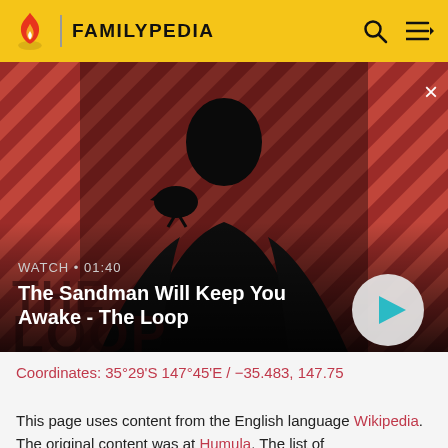FAMILYPEDIA
[Figure (screenshot): Video thumbnail showing a man in dark clothing with a raven on his shoulder against a red and dark striped background. Text overlay reads WATCH • 01:40 and The Sandman Will Keep You Awake - The Loop. A play button circle is visible bottom right. A close (x) button is at the top right.]
Coordinates: 35°29'S 147°45'E / -35.483, 147.75
This page uses content from the English language Wikipedia. The original content was at Humula. The list of